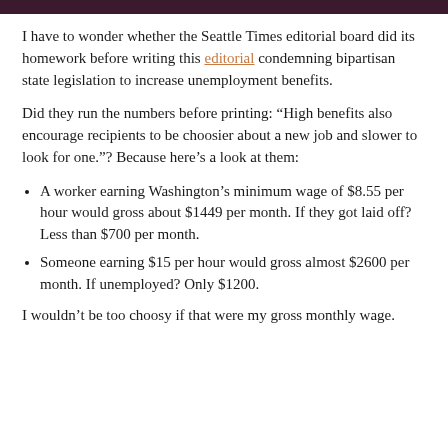I have to wonder whether the Seattle Times editorial board did its homework before writing this editorial condemning bipartisan state legislation to increase unemployment benefits.
Did they run the numbers before printing: “High benefits also encourage recipients to be choosier about a new job and slower to look for one.”? Because here’s a look at them:
A worker earning Washington’s minimum wage of $8.55 per hour would gross about $1449 per month. If they got laid off? Less than $700 per month.
Someone earning $15 per hour would gross almost $2600 per month. If unemployed? Only $1200.
I wouldn’t be too choosy if that were my gross monthly wage.